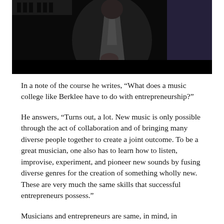[Figure (photo): Dark photograph of a person wearing a scarf, standing in front of a piano, against a dark background]
In a note of the course he writes, “What does a music college like Berklee have to do with entrepreneurship?”
He answers, “Turns out, a lot. New music is only possible through the act of collaboration and of bringing many diverse people together to create a joint outcome. To be a great musician, one also has to learn how to listen, improvise, experiment, and pioneer new sounds by fusing diverse genres for the creation of something wholly new. These are very much the same skills that successful entrepreneurs possess.”
Musicians and entrepreneurs are same, in mind, in